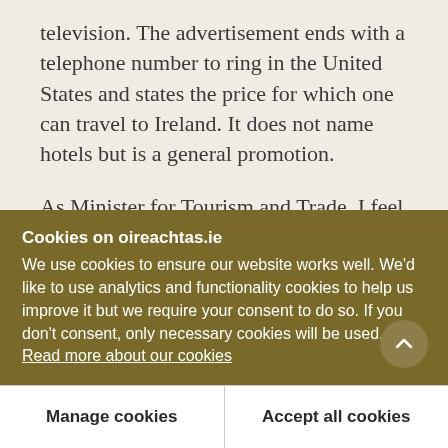television. The advertisement ends with a telephone number to ring in the United States and states the price for which one can travel to Ireland. It does not name hotels but is a general promotion.
As Minister for Tourism and Trade, I feel that my job is to try to attract people to the country. It is not possible for any Minister or Department to direct to all sectors of the market. We must let the market dictate. It is up to the individual operators to attract their share of the market. The role of the Minist...
Cookies on oireachtas.ie
We use cookies to ensure our website works well. We'd like to use analytics and functionality cookies to help us improve it but we require your consent to do so. If you don't consent, only necessary cookies will be used. Read more about our cookies
Manage cookies
Accept all cookies